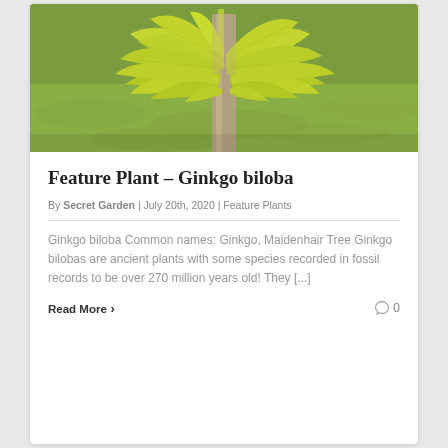[Figure (photo): Close-up photo of Ginkgo biloba tree with fan-shaped yellow-green leaves in front of a tree trunk, with green grass lawn in background]
Feature Plant – Ginkgo biloba
By Secret Garden | July 20th, 2020 | Feature Plants
Ginkgo biloba Common names: Ginkgo, Maidenhair Tree Ginkgo bilobas are ancient plants with some species recorded in fossil records to be over 270 million years old! They [...]
Read More › 0